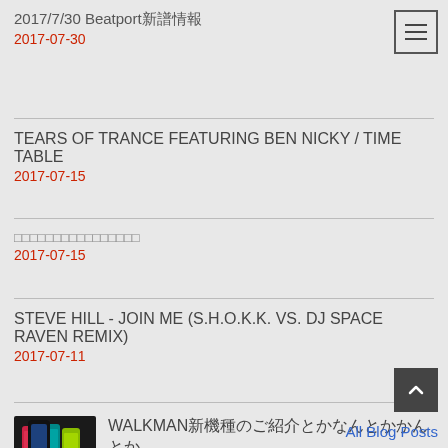2017/7/30 Beatport新譜情報
2017-07-30
TEARS OF TRANCE FEATURING BEN NICKY / TIME TABLE
2017-07-15
ロ゛ロ゛ロ゛ロ゛ロ゛ロ゛ロ゛ロ゛ロ゛ロ゛ロ゛ロ゛ロ゛ロ゛ロ゛ロ゛
2017-07-15
STEVE HILL - JOIN ME (S.H.O.K.K. VS. DJ SPACE RAVEN REMIX)
2017-07-11
WALKMAN新機種のご紹介とかなんとかかんとか
2017-07-01
All Blog Posts